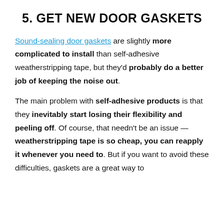5. GET NEW DOOR GASKETS
Sound-sealing door gaskets are slightly more complicated to install than self-adhesive weatherstripping tape, but they'd probably do a better job of keeping the noise out.
The main problem with self-adhesive products is that they inevitably start losing their flexibility and peeling off. Of course, that needn't be an issue — weatherstripping tape is so cheap, you can reapply it whenever you need to. But if you want to avoid these difficulties, gaskets are a great way to